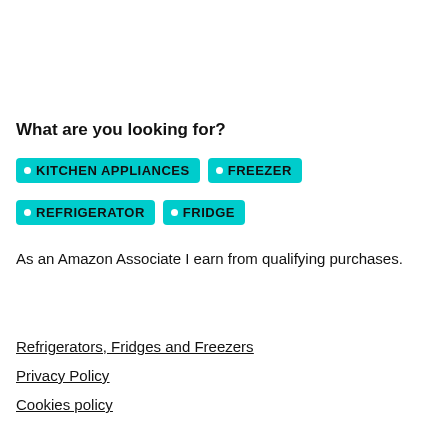What are you looking for?
KITCHEN APPLIANCES
FREEZER
REFRIGERATOR
FRIDGE
As an Amazon Associate I earn from qualifying purchases.
Refrigerators, Fridges and Freezers
Privacy Policy
Cookies policy